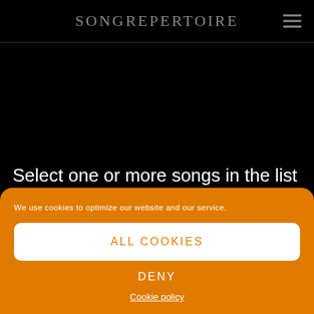SongRepertoire
Select one or more songs in the list (1) and use the
We use cookies to optimize our website and our service.
ALL COOKIES
DENY
Cookie policy